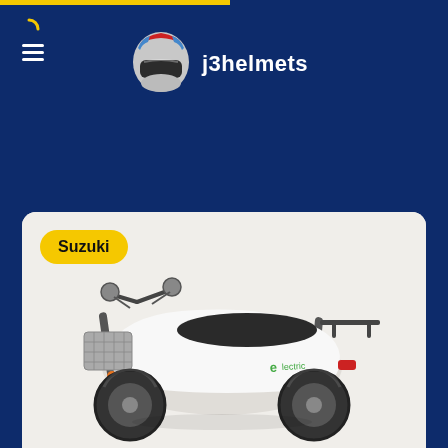[Figure (logo): j3helmets logo with a red and blue racing helmet graphic and white text 'j3helmets' on dark navy background]
[Figure (photo): White Suzuki electric scooter/moped with front basket, two side mirrors, dark seat, and green 'e' branding on the side panel, shown on light background]